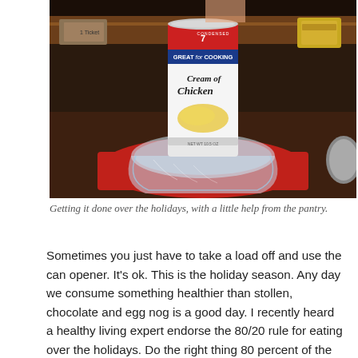[Figure (photo): A can of Campbell's Cream of Chicken condensed soup ('Great for Cooking') balanced on top of a glass bowl, placed on a red cloth napkin on a dark table. Restaurant or kitchen setting.]
Getting it done over the holidays, with a little help from the pantry.
Sometimes you just have to take a load off and use the can opener. It's ok. This is the holiday season. Any day we consume something healthier than stollen, chocolate and egg nog is a good day. I recently heard a healthy living expert endorse the 80/20 rule for eating over the holidays. Do the right thing 80 percent of the time and don't stress about slacking off for the other 20 percent.